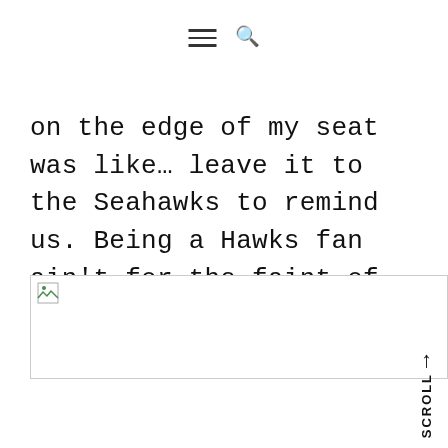≡ 🔍
on the edge of my seat was like… leave it to the Seahawks to remind us. Being a Hawks fan ain't for the faint of heart. The story of the season [...]
[Figure (photo): Broken/missing image placeholder with small image icon in top-left corner]
SCROLL ↑